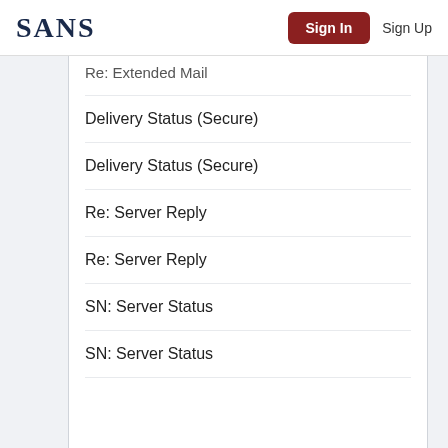SANS | Sign In | Sign Up
Re: Extended Mail
Delivery Status (Secure)
Delivery Status (Secure)
Re: Server Reply
Re: Server Reply
SN: Server Status
SN: Server Status